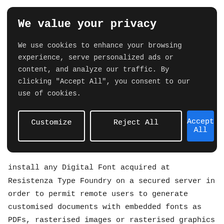We value your privacy
We use cookies to enhance your browsing experience, serve personalized ads or content, and analyze our traffic. By clicking "Accept All", you consent to our use of cookies.
install any Digital Font acquired at Resistenza Type Foundry on a secured server in order to permit remote users to generate customised documents with embedded fonts as PDFs, rasterised images or rasterised graphics (.PNG,.JPEG,.TIFF), custom T-shirts which remote users can only downloa